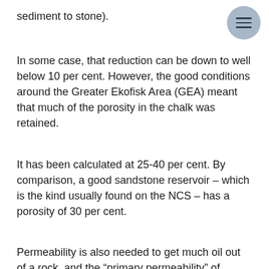sediment to stone).
In some case, that reduction can be down to well below 10 per cent. However, the good conditions around the Greater Ekofisk Area (GEA) meant that much of the porosity in the chalk was retained.
It has been calculated at 25-40 per cent. By comparison, a good sandstone reservoir – which is the kind usually found on the NCS – has a porosity of 30 per cent.
Permeability is also needed to get much oil out of a rock, and the “primary permeability” of Ekofisk chalk is low since the connections between its pores is poor/constricted.
But the field has enjoyed another stroke of luck